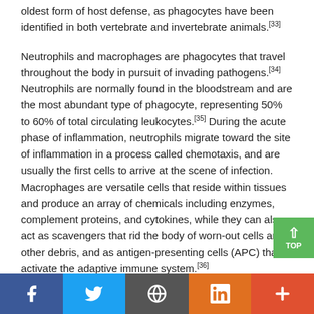oldest form of host defense, as phagocytes have been identified in both vertebrate and invertebrate animals.[33]
Neutrophils and macrophages are phagocytes that travel throughout the body in pursuit of invading pathogens.[34] Neutrophils are normally found in the bloodstream and are the most abundant type of phagocyte, representing 50% to 60% of total circulating leukocytes.[35] During the acute phase of inflammation, neutrophils migrate toward the site of inflammation in a process called chemotaxis, and are usually the first cells to arrive at the scene of infection. Macrophages are versatile cells that reside within tissues and produce an array of chemicals including enzymes, complement proteins, and cytokines, while they can also act as scavengers that rid the body of worn-out cells and other debris, and as antigen-presenting cells (APC) that activate the adaptive immune system.[36]
Dendritic cells are phagocytes in tissues that are in contact with the external environment...